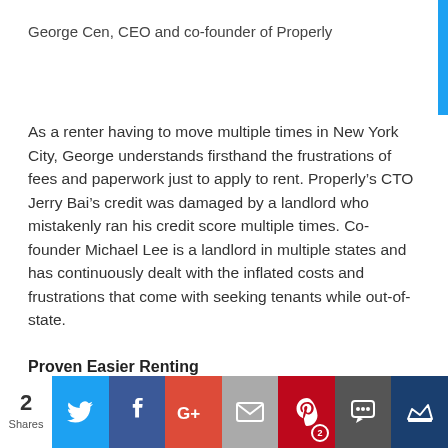George Cen, CEO and co-founder of Properly
As a renter having to move multiple times in New York City, George understands firsthand the frustrations of fees and paperwork just to apply to rent. Properly’s CTO Jerry Bai’s credit was damaged by a landlord who mistakenly ran his credit score multiple times. Co-founder Michael Lee is a landlord in multiple states and has continuously dealt with the inflated costs and frustrations that come with seeking tenants while out-of-state.
Proven Easier Renting
[Figure (infographic): Social share bar with count of 2 Shares and buttons for Twitter, Facebook, Google+, Email, Pinterest (2), SMS, and a crown/bookmark icon]